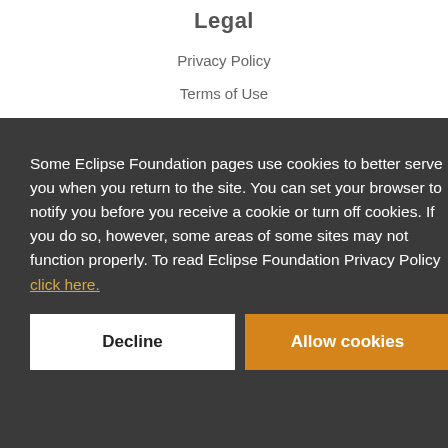Legal
Privacy Policy
Terms of Use
Copyright Agent
Some Eclipse Foundation pages use cookies to better serve you when you return to the site. You can set your browser to notify you before you receive a cookie or turn off cookies. If you do so, however, some areas of some sites may not function properly. To read Eclipse Foundation Privacy Policy click here.